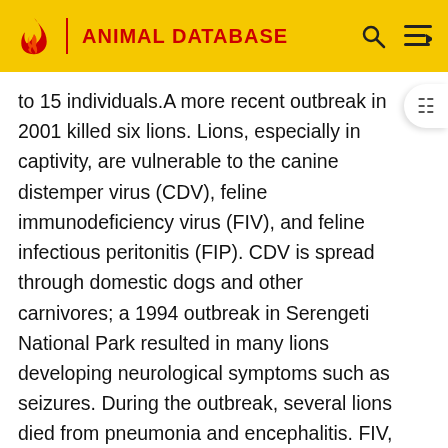ANIMAL DATABASE
to 15 individuals.A more recent outbreak in 2001 killed six lions. Lions, especially in captivity, are vulnerable to the canine distemper virus (CDV), feline immunodeficiency virus (FIV), and feline infectious peritonitis (FIP). CDV is spread through domestic dogs and other carnivores; a 1994 outbreak in Serengeti National Park resulted in many lions developing neurological symptoms such as seizures. During the outbreak, several lions died from pneumonia and encephalitis. FIV, which is similar to HIV while not known to adversely affect lions, is worrisome enough in its effect in domestic cats that the Species Survival Plan recommends systematic testing in captive lions. It occurs with high to endemic frequency in several wild lion populations, but is mostly absent from